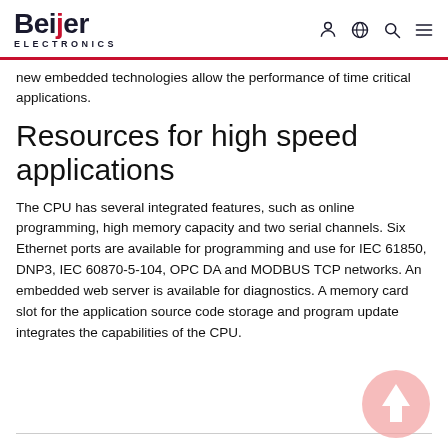Beijer Electronics
new embedded technologies allow the performance of time critical applications.
Resources for high speed applications
The CPU has several integrated features, such as online programming, high memory capacity and two serial channels. Six Ethernet ports are available for programming and use for IEC 61850, DNP3, IEC 60870-5-104, OPC DA and MODBUS TCP networks. An embedded web server is available for diagnostics. A memory card slot for the application source code storage and program update integrates the capabilities of the CPU.
[Figure (illustration): Scroll-to-top button: pink/salmon circle with white upward arrow]